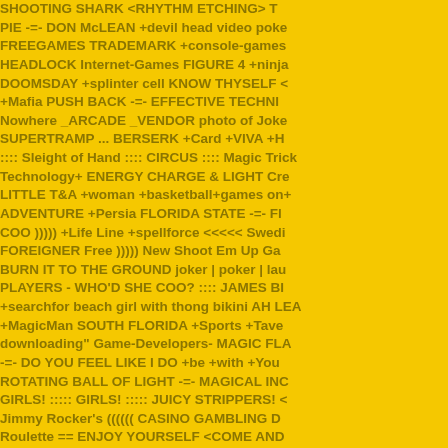SHOOTING SHARK <RHYTHM ETCHING> T PIE -=- DON McLEAN +devil head video poke FREEGAMES TRADEMARK +console-games HEADLOCK Internet-Games FIGURE 4 +ninja DOOMSDAY +splinter cell KNOW THYSELF < +Mafia PUSH BACK -=- EFFECTIVE TECHNI Nowhere _ARCADE _VENDOR photo of Joke SUPERTRAMP ... BERSERK +Card +VIVA +H :::: Sleight of Hand :::: CIRCUS :::: Magic Trick Technology+ ENERGY CHARGE & LIGHT Cre LITTLE T&A +woman +basketball+games on+ ADVENTURE +Persia FLORIDA STATE -=- Fl COO ))))) +Life Line +spellforce <<<<< Swedi FOREIGNER Free ))))) New Shoot Em Up Ga BURN IT TO THE GROUND joker | poker | lau PLAYERS - WHO'D SHE COO? :::: JAMES BI +searchfor beach girl with thong bikini AH LEA +MagicMan SOUTH FLORIDA +Sports +Tave downloading" Game-Developers- MAGIC FLA -=- DO YOU FEEL LIKE I DO +be +with +You ROTATING BALL OF LIGHT -=- MAGICAL INC GIRLS! ::::: GIRLS! ::::: JUICY STRIPPERS! < Jimmy Rocker's (((((( CASINO GAMBLING D Roulette == ENJOY YOURSELF <COME AND WICKED MANIC GROOVE... ((((((( HEY L@@ BELIEVE HOW HOT A HAND THIS IS GONN/ photography JIMMY ROCKER - LARA CROFT SevenCardStud PokerChips How to play Pow casinogambling * VOODOO! * talisman Gamb <<<<!!!! A W E S O M E !!!<<<< CHASIN